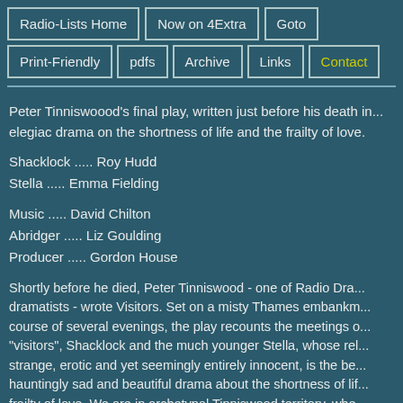Radio-Lists Home | Now on 4Extra | Goto | Print-Friendly | pdfs | Archive | Links | Contact
Peter Tinniswoood's final play, written just before his death in... elegiac drama on the shortness of life and the frailty of love.
Shacklock ..... Roy Hudd
Stella ..... Emma Fielding
Music ..... David Chilton
Abridger ..... Liz Goulding
Producer ..... Gordon House
Shortly before he died, Peter Tinniswood - one of Radio Dra... dramatists - wrote Visitors. Set on a misty Thames embankm... course of several evenings, the play recounts the meetings o... "visitors", Shacklock and the much younger Stella, whose rel... strange, erotic and yet seemingly entirely innocent, is the be... hauntingly sad and beautiful drama about the shortness of lif... frailty of love. We are in archetypal Tinniswood territory, whe... straightforward, where words take on a surreal existence...